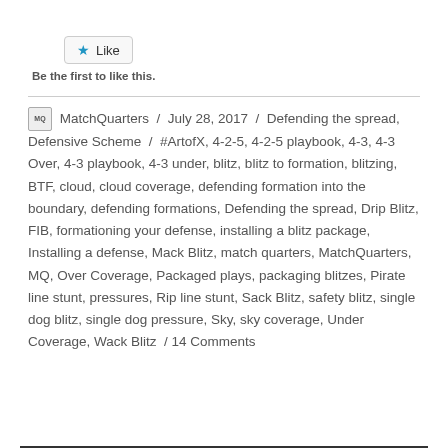[Figure (other): Like button with star icon]
Be the first to like this.
MatchQuarters / July 28, 2017 / Defending the spread, Defensive Scheme / #ArtofX, 4-2-5, 4-2-5 playbook, 4-3, 4-3 Over, 4-3 playbook, 4-3 under, blitz, blitz to formation, blitzing, BTF, cloud, cloud coverage, defending formation into the boundary, defending formations, Defending the spread, Drip Blitz, FIB, formationing your defense, installing a blitz package, Installing a defense, Mack Blitz, match quarters, MatchQuarters, MQ, Over Coverage, Packaged plays, packaging blitzes, Pirate line stunt, pressures, Rip line stunt, Sack Blitz, safety blitz, single dog blitz, single dog pressure, Sky, sky coverage, Under Coverage, Wack Blitz / 14 Comments